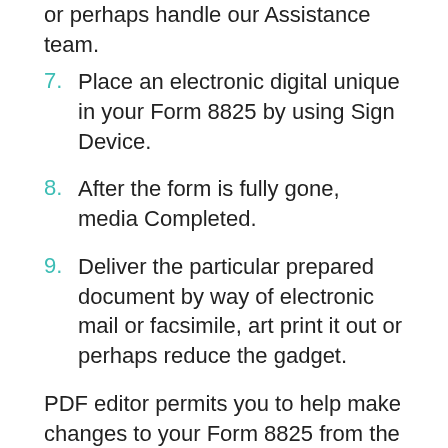or perhaps handle our Assistance team.
7. Place an electronic digital unique in your Form 8825 by using Sign Device.
8. After the form is fully gone, media Completed.
9. Deliver the particular prepared document by way of electronic mail or facsimile, art print it out or perhaps reduce the gadget.
PDF editor permits you to help make changes to your Form 8825 from the internet connected gadget, personalize it based on your requirements, indicator this in electronic format and also disperse differently.
Video instructions - Add Notes To Form 8825